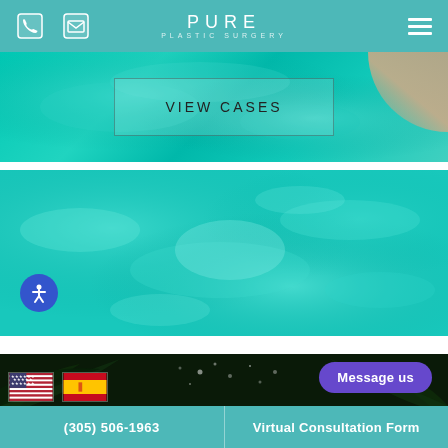PURE PLASTIC SURGERY - navigation bar with phone, email icons and hamburger menu
[Figure (screenshot): Aerial view of turquoise pool water with a person's arm/leg visible in top right corner, overlaid with a 'VIEW CASES' button in center]
VIEW CASES
[Figure (photo): Aerial view of turquoise swimming pool water with light ripple patterns, accessibility icon button in bottom left]
[Figure (photo): Dark tropical background with palm leaves and bokeh lights, showing US and Spanish flag icons, and a purple 'Message us' button]
Message us
(305) 506-1963 | Virtual Consultation Form